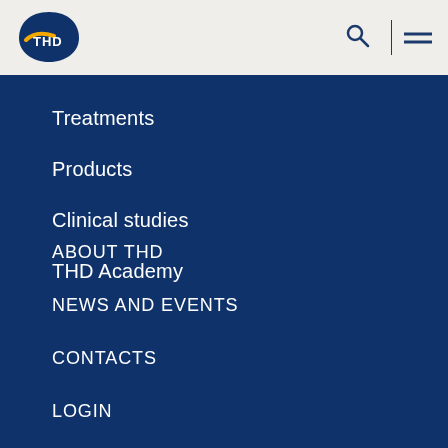[Figure (logo): THD company logo — white text 'THD' on dark blue teardrop/shield shape with yellow swoosh accent]
Treatments
Products
Clinical studies
THD Academy
ABOUT THD
NEWS AND EVENTS
CONTACTS
LOGIN